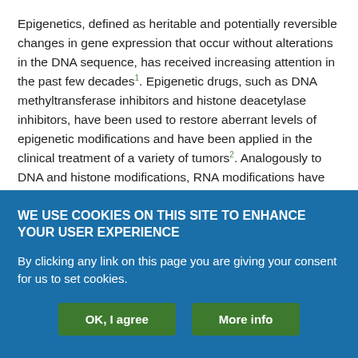Epigenetics, defined as heritable and potentially reversible changes in gene expression that occur without alterations in the DNA sequence, has received increasing attention in the past few decades1. Epigenetic drugs, such as DNA methyltransferase inhibitors and histone deacetylase inhibitors, have been used to restore aberrant levels of epigenetic modifications and have been applied in the clinical treatment of a variety of tumors2. Analogously to DNA and histone modifications, RNA modifications have been shown to regulate gene expression at the post-transcriptional level and have become a major research focus in recent years3. More than 100...
WE USE COOKIES ON THIS SITE TO ENHANCE YOUR USER EXPERIENCE
By clicking any link on this page you are giving your consent for us to set cookies.